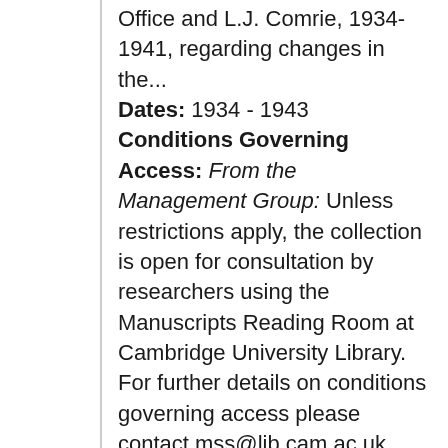Office and L.J. Comrie, 1934-1941, regarding changes in the... Dates: 1934 - 1943 Conditions Governing Access: From the Management Group: Unless restrictions apply, the collection is open for consultation by researchers using the Manuscripts Reading Room at Cambridge University Library. For further details on conditions governing access please contact mss@lib.cam.ac.uk. Information about opening hours and obtaining a Cambridge University Library reader's ticket is...